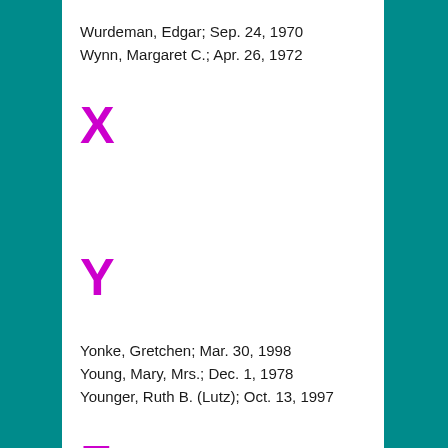Wurdeman, Edgar; Sep. 24, 1970
Wynn, Margaret C.; Apr. 26, 1972
X
Y
Yonke, Gretchen; Mar. 30, 1998
Young, Mary, Mrs.; Dec. 1, 1978
Younger, Ruth B. (Lutz); Oct. 13, 1997
Z
Zahka, Marvin; Jun. 10, 1996